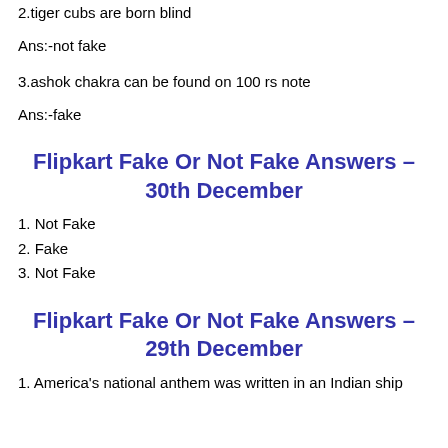2.tiger cubs are born blind
Ans:-not fake
3.ashok chakra can be found on 100 rs note
Ans:-fake
Flipkart Fake Or Not Fake Answers – 30th December
1. Not Fake
2. Fake
3. Not Fake
Flipkart Fake Or Not Fake Answers – 29th December
1. America's national anthem was written in an Indian ship